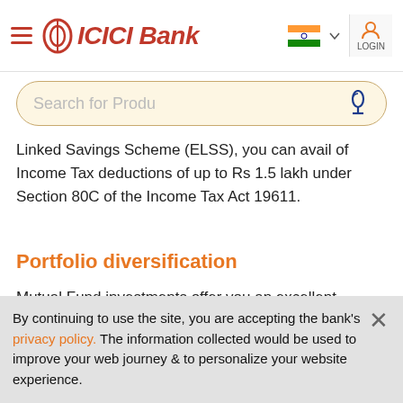ICICI Bank
Linked Savings Scheme (ELSS), you can avail of Income Tax deductions of up to Rs 1.5 lakh under Section 80C of the Income Tax Act 19611.
Portfolio diversification
Mutual Fund investments offer you an excellent opportunity to spread your financial resources over
By continuing to use the site, you are accepting the bank's privacy policy. The information collected would be used to improve your web journey & to personalize your website experience.